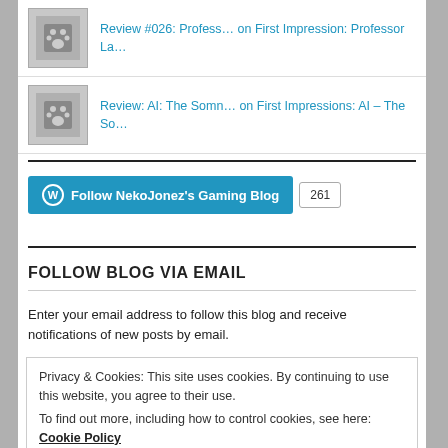Review #026: Profess… on First Impression: Professor La…
Review: AI: The Somn… on First Impressions: AI – The So…
[Figure (other): Follow NekoJonez's Gaming Blog button with WordPress logo and count badge showing 261]
FOLLOW BLOG VIA EMAIL
Enter your email address to follow this blog and receive notifications of new posts by email.
Privacy & Cookies: This site uses cookies. By continuing to use this website, you agree to their use.
To find out more, including how to control cookies, see here: Cookie Policy
Close and accept